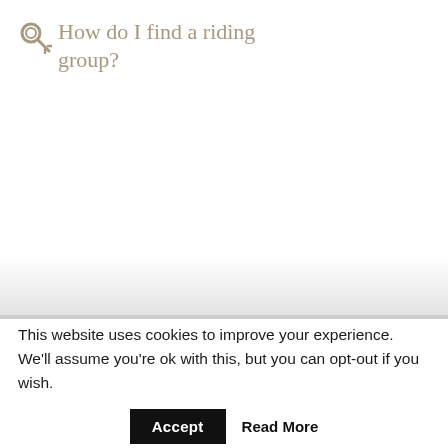How do I find a riding group?
This website uses cookies to improve your experience. We'll assume you're ok with this, but you can opt-out if you wish.
Accept  Read More